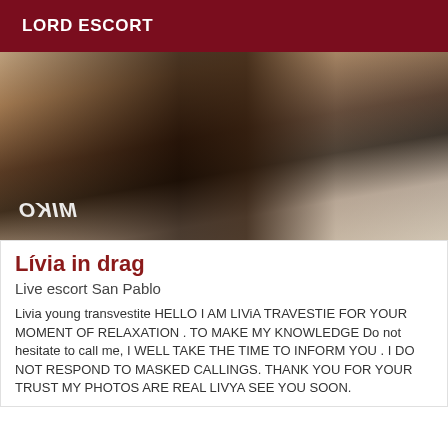LORD ESCORT
[Figure (photo): Photo of person's legs in high heels in a bathroom setting, with mirrored watermark text 'MIKO' in bottom left corner.]
Lívia in drag
Live escort San Pablo
Livia young transvestite HELLO I AM LIViA TRAVESTIE FOR YOUR MOMENT OF RELAXATION . TO MAKE MY KNOWLEDGE Do not hesitate to call me, I WELL TAKE THE TIME TO INFORM YOU . I DO NOT RESPOND TO MASKED CALLINGS. THANK YOU FOR YOUR TRUST MY PHOTOS ARE REAL LIVYA SEE YOU SOON.